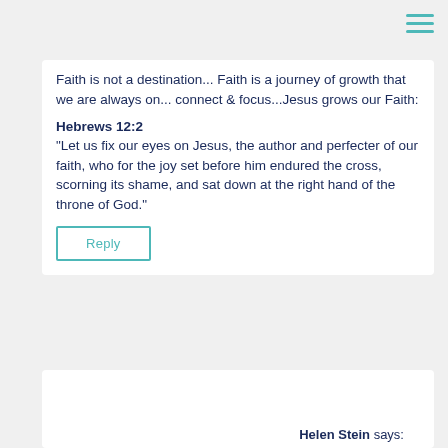[Figure (other): Hamburger menu icon (three teal horizontal lines) in top-right corner]
Faith is not a destination... Faith is a journey of growth that we are always on... connect & focus...Jesus grows our Faith:
Hebrews 12:2
"Let us fix our eyes on Jesus, the author and perfecter of our faith, who for the joy set before him endured the cross, scorning its shame, and sat down at the right hand of the throne of God."
Reply
Helen Stein says: